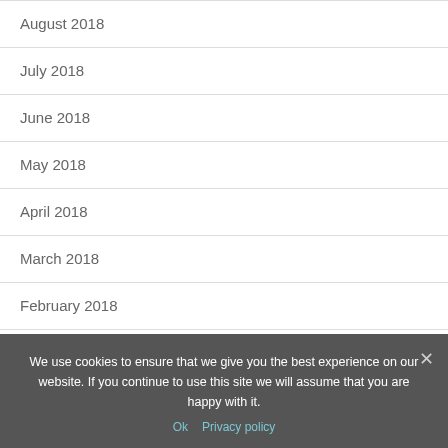August 2018
July 2018
June 2018
May 2018
April 2018
March 2018
February 2018
January 2018
December 2017
November 2017
We use cookies to ensure that we give you the best experience on our website. If you continue to use this site we will assume that you are happy with it.
Ok   Privacy policy